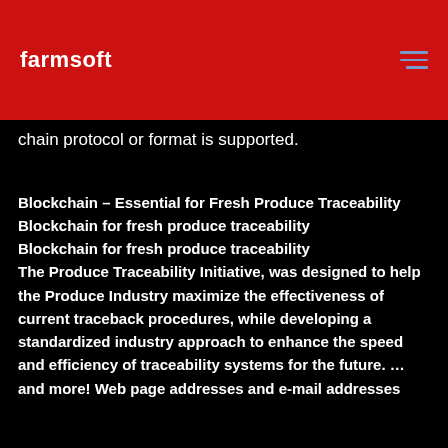farmsoft
chain protocol or format is supported.
Blockchain – Essential for Fresh Produce Traceability
Blockchain for fresh produce traceability
Blockchain for fresh produce traceability
The Produce Traceability Initiative, was designed to help the Produce Industry maximize the effectiveness of current traceback procedures, while developing a standardized industry approach to enhance the speed and efficiency of traceability systems for the future. … and more! Web page addresses and e-mail addresses